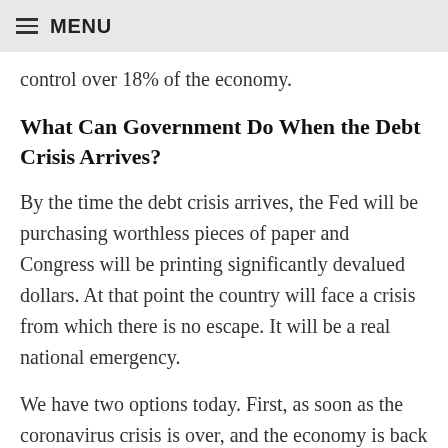MENU
control over 18% of the economy.
What Can Government Do When the Debt Crisis Arrives?
By the time the debt crisis arrives, the Fed will be purchasing worthless pieces of paper and Congress will be printing significantly devalued dollars. At that point the country will face a crisis from which there is no escape. It will be a real national emergency.
We have two options today. First, as soon as the coronavirus crisis is over, and the economy is back to some normalcy, Congress needs immediately to